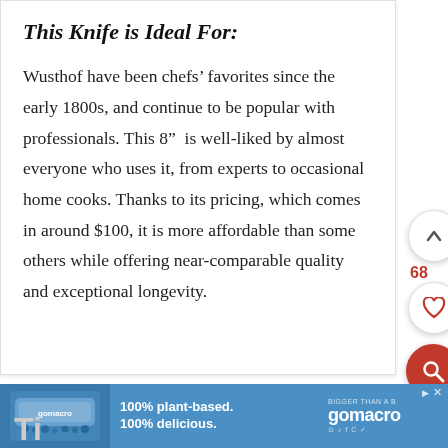This Knife is Ideal For:
Wusthof have been chefs’ favorites since the early 1800s, and continue to be popular with professionals. This 8” is well-liked by almost everyone who uses it, from experts to occasional home cooks. Thanks to its pricing, which comes in around $100, it is more affordable than some others while offering near-comparable quality and exceptional longevity.
[Figure (other): Advertisement banner for GoMacro protein bars with text '100% plant-based. 100% delicious.' and 'BIGGER THAN A B...' 'gomacro' logo on right side]
Ti...